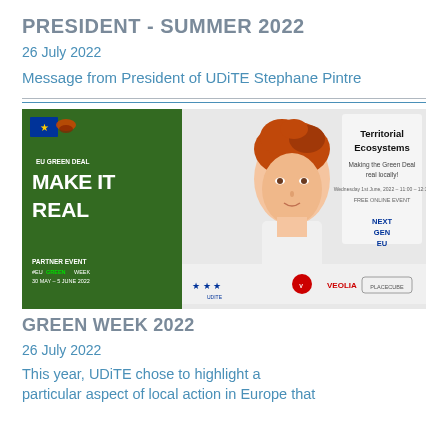PRESIDENT - SUMMER 2022
26 July 2022
Message from President of UDiTE Stephane Pintre
[Figure (photo): Banner image for EU Green Deal 'Make It Real' Territorial Ecosystems event - showing a woman with red hair, EU Green Deal branding, and logos for UDITE, Veolia, and Placecube. Text: Territorial Ecosystems, Making the Green Deal real locally!, Wednesday 1st June, 2022 – 11:00 – 12:30, FREE ONLINE EVENT, PARTNER EVENT #EUGREENWEEK 30 MAY – 5 JUNE 2022, NEXT GEN EU.]
GREEN WEEK 2022
26 July 2022
This year, UDiTE chose to highlight a particular aspect of local action in Europe that